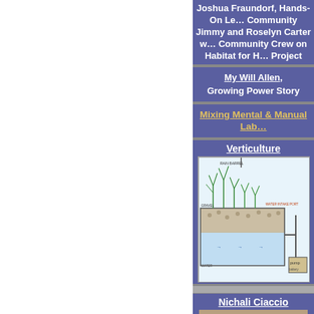Joshua Fraundorf, Hands-On Learning Community
Jimmy and Roselyn Carter with Community Crew on Habitat for Humanity Project
My Will Allen, Growing Power Story
Mixing Mental & Manual Lab
Verticulture
[Figure (engineering-diagram): Verticulture system diagram showing a cross-section of a planting bed with water circulation, roots growing in gravel media, water flow arrows, and a pump unit at the bottom right.]
Nichali Ciaccio
[Figure (photo): Photo of two cats resting among cardboard boxes, one box labeled LOZAN visible in the background.]